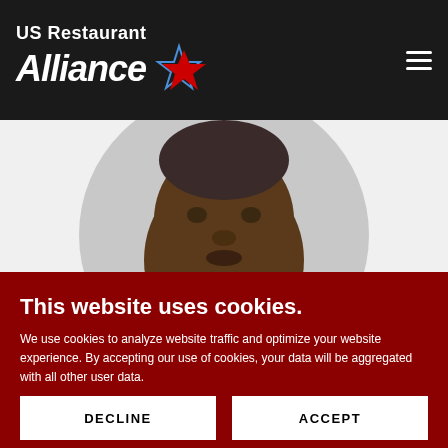US Restaurant Alliance
[Figure (photo): Circular profile photo of Greg Nance, a man wearing a blue plaid shirt, photo cropped to show face and upper torso]
Greg Nance
This website uses cookies.
We use cookies to analyze website traffic and optimize your website experience. By accepting our use of cookies, your data will be aggregated with all other user data.
DECLINE
ACCEPT